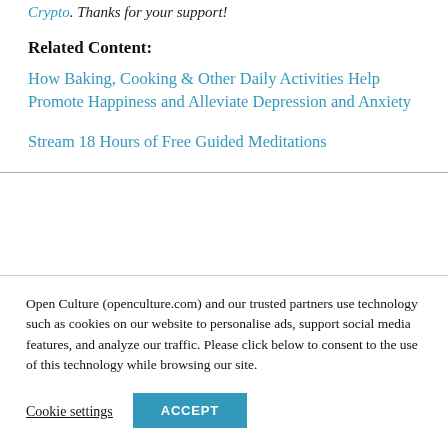Crypto. Thanks for your support!
Related Content:
How Baking, Cooking & Other Daily Activities Help Promote Happiness and Alleviate Depression and Anxiety
Stream 18 Hours of Free Guided Meditations
Open Culture (openculture.com) and our trusted partners use technology such as cookies on our website to personalise ads, support social media features, and analyze our traffic. Please click below to consent to the use of this technology while browsing our site.
Cookie settings | ACCEPT